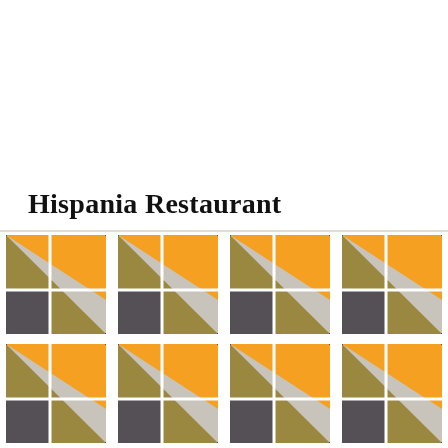Hispania Restaurant
[Figure (photo): Decorative geometric floor tiles with a repeating pattern. Each tile features an orange triangle, an olive/gold triangle, a dark grey/charcoal square, and white borders, creating a 3D box illusion. The tiles are laid in a grid with thin white grout lines and small dark corner accents.]